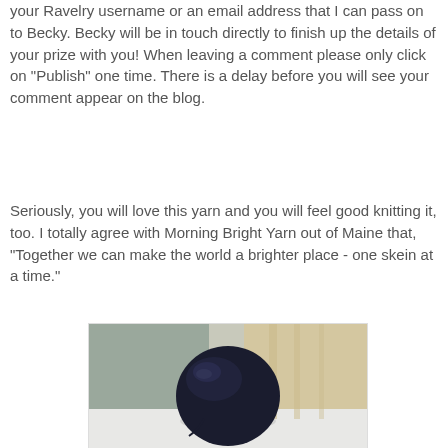your Ravelry username or an email address that I can pass on to Becky. Becky will be in touch directly to finish up the details of your prize with you! When leaving a comment please only click on "Publish" one time. There is a delay before you will see your comment appear on the blog.
Seriously, you will love this yarn and you will feel good knitting it, too. I totally agree with Morning Bright Yarn out of Maine that, "Together we can make the world a brighter place - one skein at a time."
[Figure (photo): A ball of dark navy blue yarn sitting on a white surface, with a blurred curtain background]